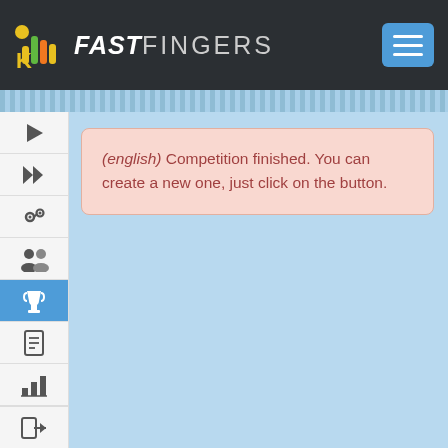10FastFingers
(english) Competition finished. You can create a new one, just click on the button.